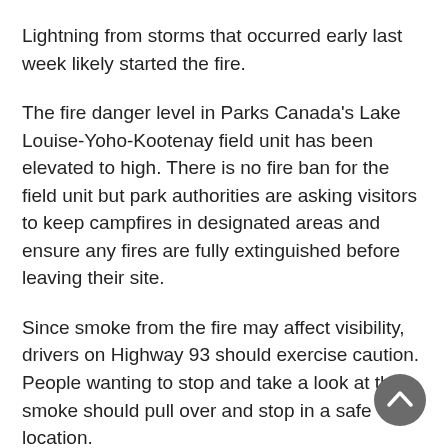Lightning from storms that occurred early last week likely started the fire.
The fire danger level in Parks Canada's Lake Louise-Yoho-Kootenay field unit has been elevated to high. There is no fire ban for the field unit but park authorities are asking visitors to keep campfires in designated areas and ensure any fires are fully extinguished before leaving their site.
Since smoke from the fire may affect visibility, drivers on Highway 93 should exercise caution. People wanting to stop and take a look at the smoke should pull over and stop in a safe location.
[Figure (other): A circular dark grey back-to-top button with a white upward-pointing chevron arrow icon.]